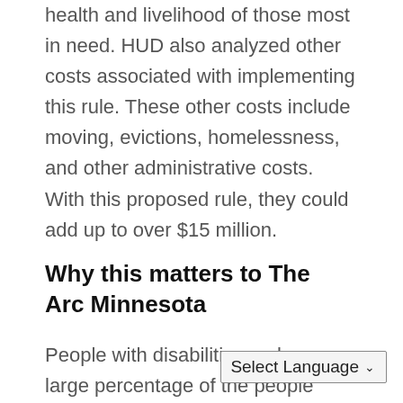health and livelihood of those most in need. HUD also analyzed other costs associated with implementing this rule. These other costs include moving, evictions, homelessness, and other administrative costs. With this proposed rule, they could add up to over $15 million.
Why this matters to The Arc Minnesota
People with disabilities make up a large percentage of the people served by federal housing programs. Therefore, it was important that The